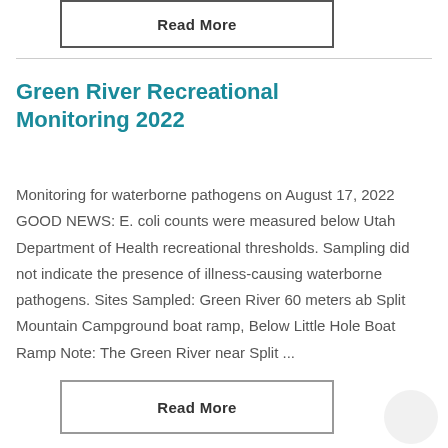Read More
Green River Recreational Monitoring 2022
Monitoring for waterborne pathogens on August 17, 2022 GOOD NEWS: E. coli counts were measured below Utah Department of Health recreational thresholds. Sampling did not indicate the presence of illness-causing waterborne pathogens. Sites Sampled: Green River 60 meters ab Split Mountain Campground boat ramp, Below Little Hole Boat Ramp Note: The Green River near Split ...
Read More